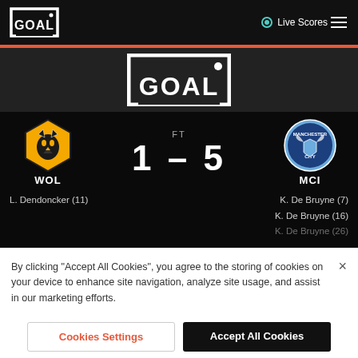GOAL - Live Scores
[Figure (logo): GOAL logo (large, centered) on dark background]
[Figure (infographic): Football match result: WOL 1 - 5 MCI (FT). Scorers: L. Dendoncker (11); K. De Bruyne (7), K. De Bruyne (16), K. De Bruyne (26+)]
By clicking "Accept All Cookies", you agree to the storing of cookies on your device to enhance site navigation, analyze site usage, and assist in our marketing efforts.
Cookies Settings
Accept All Cookies